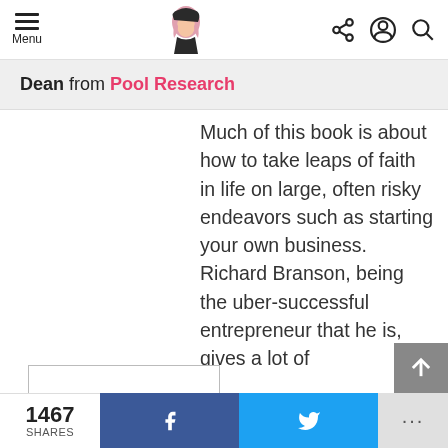Menu [navigation bar with logo and icons]
Dean from Pool Research
Much of this book is about how to take leaps of faith in life on large, often risky endeavors such as starting your own business. Richard Branson, being the uber-successful entrepreneur that he is, gives a lot of
1467 SHARES  [Facebook share]  [Twitter share]  ...